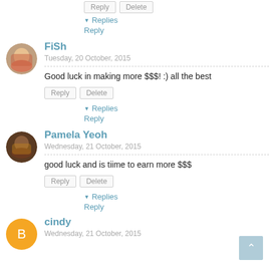Reply | Delete (partial, top of page)
▾ Replies
Reply
FiSh
Tuesday, 20 October, 2015
Good luck in making more $$$! :) all the best
Reply | Delete
▾ Replies
Reply
Pamela Yeoh
Wednesday, 21 October, 2015
good luck and is tiime to earn more $$$
Reply | Delete
▾ Replies
Reply
cindy
Wednesday, 21 October, 2015